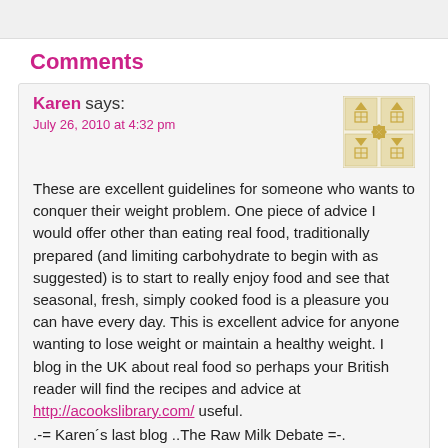Comments
Karen says:
July 26, 2010 at 4:32 pm

These are excellent guidelines for someone who wants to conquer their weight problem. One piece of advice I would offer other than eating real food, traditionally prepared (and limiting carbohydrate to begin with as suggested) is to start to really enjoy food and see that seasonal, fresh, simply cooked food is a pleasure you can have every day. This is excellent advice for anyone wanting to lose weight or maintain a healthy weight. I blog in the UK about real food so perhaps your British reader will find the recipes and advice at http://acookslibrary.com/ useful.
.-= Karen´s last blog ..The Raw Milk Debate =-.